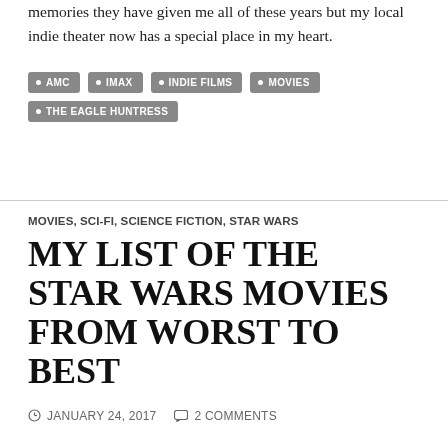…memories they have given me all of these years but my local indie theater now has a special place in my heart.
AMC
IMAX
INDIE FILMS
MOVIES
THE EAGLE HUNTRESS
MOVIES, SCI-FI, SCIENCE FICTION, STAR WARS
MY LIST OF THE STAR WARS MOVIES FROM WORST TO BEST
JANUARY 24, 2017   2 COMMENTS
There are now eight Star Wars movies to enjoy. All of them